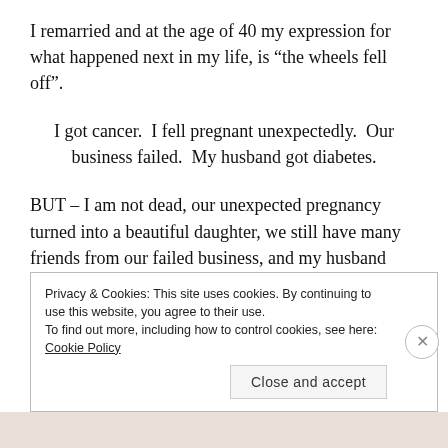I remarried and at the age of 40 my expression for what happened next in my life, is “the wheels fell off”.
I got cancer.  I fell pregnant unexpectedly.  Our business failed.  My husband got diabetes.
BUT – I am not dead, our unexpected pregnancy turned into a beautiful daughter, we still have many friends from our failed business, and my husband manages his diabetes.
Privacy & Cookies: This site uses cookies. By continuing to use this website, you agree to their use.
To find out more, including how to control cookies, see here: Cookie Policy